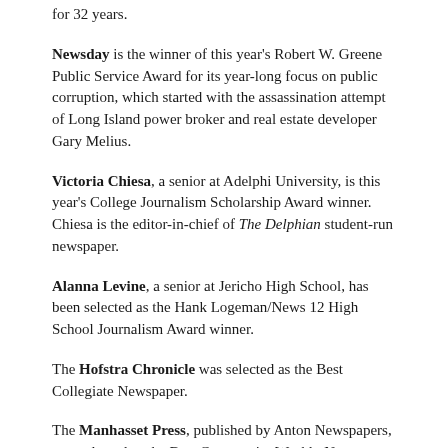for 32 years.
Newsday is the winner of this year's Robert W. Greene Public Service Award for its year-long focus on public corruption, which started with the assassination attempt of Long Island power broker and real estate developer Gary Melius.
Victoria Chiesa, a senior at Adelphi University, is this year's College Journalism Scholarship Award winner. Chiesa is the editor-in-chief of The Delphian student-run newspaper.
Alanna Levine, a senior at Jericho High School, has been selected as the Hank Logeman/News 12 High School Journalism Award winner.
The Hofstra Chronicle was selected as the Best Collegiate Newspaper.
The Manhasset Press, published by Anton Newspapers, was selected as the Best Community Weekly Newspaper.
Jamie Lynn Ryan, managing editor of South Bay's Neighbor Newspapers and managing editor of Seasons Magazine, is this year's Phil Spahn Memorial Award winner. The Spahn Award is presented to a PCLI member who has demonstrated leadership, ability and outstanding service to